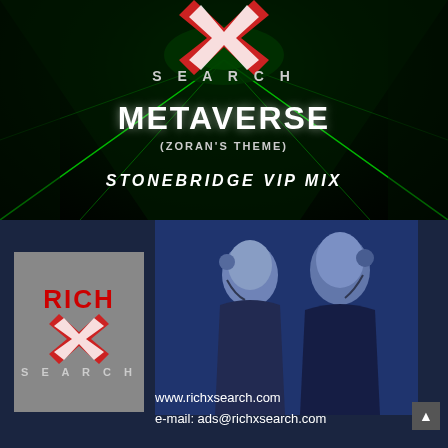[Figure (illustration): Top half: Dark green tunnel/corridor with neon green laser lights converging to center. Large red and white X logo at top center with 'SEARCH' text below it. White bold text reading 'METAVERSE', smaller text '(ZORAN'S THEME)', and stylized italic text 'STONEBRIDGE VIP MIX'.]
[Figure (photo): Bottom half: Dark navy blue background with two women wearing headsets/microphones. Left woman in dark top, right woman in dark jacket. Both smiling.]
[Figure (logo): RichXSearch logo: grey rectangle containing red 'RICH' text, red and white X graphic, and grey 'SEARCH' text with stylized lettering.]
www.richxsearch.com
e-mail: ads@richxsearch.com